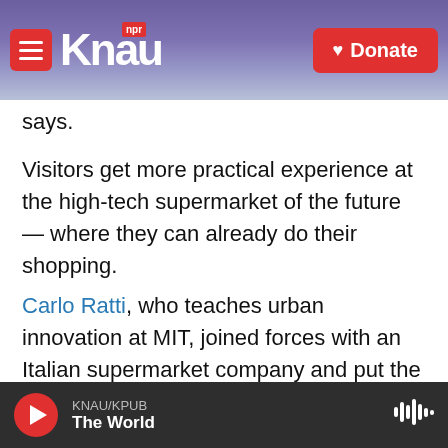KNAU NPR | Donate
says.
Visitors get more practical experience at the high-tech supermarket of the future — where they can already do their shopping.
Carlo Ratti, who teaches urban innovation at MIT, joined forces with an Italian supermarket company and put the consumer at the heart of the food chain.
If you move a hand close to a product, a digital display lights up, providing information on origin, nutritional value and carbon footprint.
KNAU/KPUB — The World